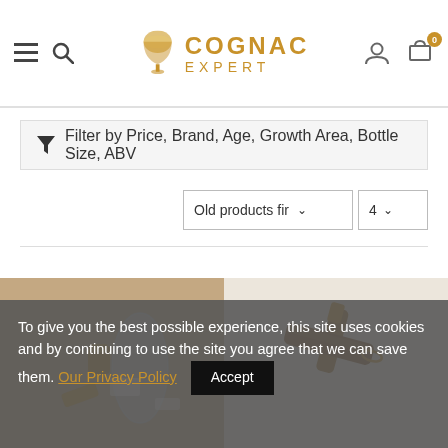Cognac Expert
Filter by Price, Brand, Age, Growth Area, Bottle Size, ABV
Old products fir ∨   4 ∨
[Figure (photo): Two cognac bottle images side by side — left shows a glass decanter with gold stopper parts, right shows a bottle with wooden/gold casing elements on a white background]
To give you the best possible experience, this site uses cookies and by continuing to use the site you agree that we can save them. Our Privacy Policy  Accept